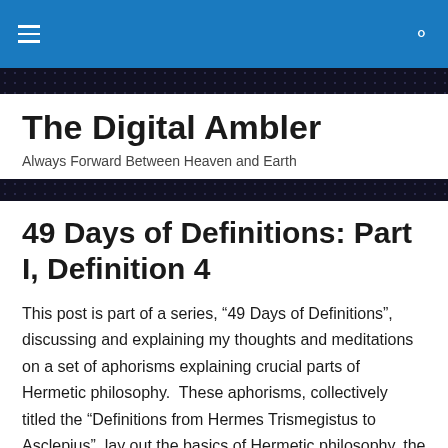The Digital Ambler — navigation bar
The Digital Ambler
Always Forward Between Heaven and Earth
49 Days of Definitions: Part I, Definition 4
This post is part of a series, “49 Days of Definitions”, discussing and explaining my thoughts and meditations on a set of aphorisms explaining crucial parts of Hermetic philosophy.  These aphorisms, collectively titled the “Definitions from Hermes Trismegistus to Asclepius”, lay out the basics of Hermetic philosophy, the place of Man in